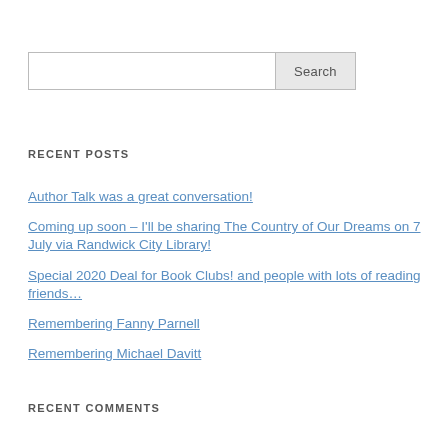RECENT POSTS
Author Talk was a great conversation!
Coming up soon – I'll be sharing The Country of Our Dreams on 7 July via Randwick City Library!
Special 2020 Deal for Book Clubs! and people with lots of reading friends…
Remembering Fanny Parnell
Remembering Michael Davitt
RECENT COMMENTS